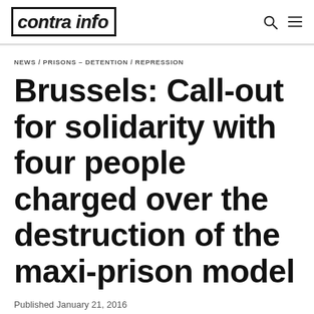contra info
NEWS / PRISONS – DETENTION / REPRESSION
Brussels: Call-out for solidarity with four people charged over the destruction of the maxi-prison model
Published January 21, 2016